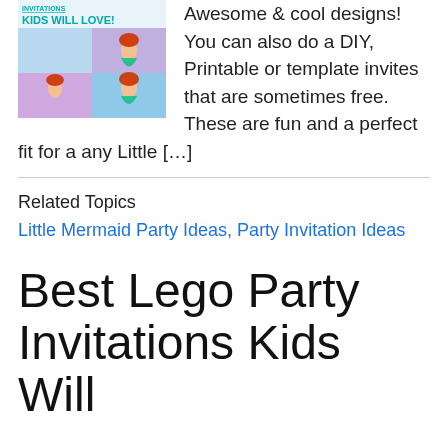[Figure (photo): Collage of Little Mermaid party invitations showing Ariel character with text 'KIDS WILL LOVE!' at top]
Awesome & cool designs! You can also do a DIY, Printable or template invites that are sometimes free. These are fun and a perfect fit for a any Little [...]
Related Topics
Little Mermaid Party Ideas, Party Invitation Ideas
Best Lego Party Invitations Kids Will